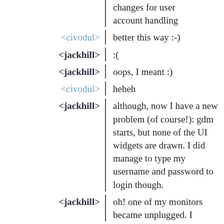changes for user account handling
<civodul> better this way :-)
<jackhill> :(
<jackhill> oops, I meant :)
<civodul> heheh
<jackhill> although, now I have a new problem (of course!): gdm starts, but none of the UI widgets are drawn. I did manage to type my username and password to login though.
<jackhill> oh! one of my monitors became unplugged. I